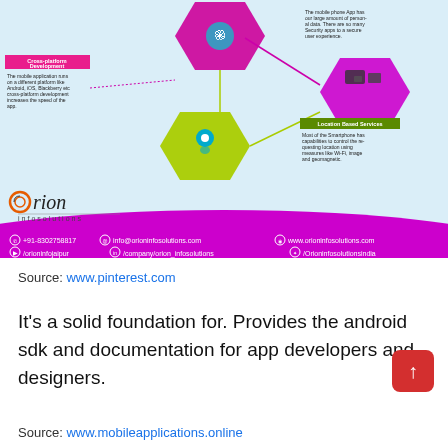[Figure (infographic): Orion Infosolutions mobile app development infographic showing hexagonal icons for cross-platform development (mobile devices), location based services (map pin), and security (fingerprint). Contains company logo and contact details on purple footer band.]
Source: www.pinterest.com
It's a solid foundation for. Provides the android sdk and documentation for app developers and designers.
Source: www.mobileapplications.online